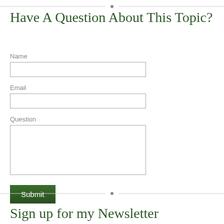Have A Question About This Topic?
Name
Email
Question
Submit
Sign up for my Newsletter